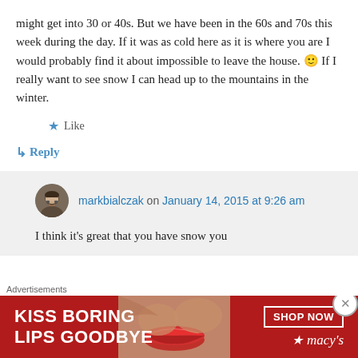might get into 30 or 40s. But we have been in the 60s and 70s this week during the day. If it was as cold here as it is where you are I would probably find it about impossible to leave the house. 🙂 If I really want to see snow I can head up to the mountains in the winter.
★ Like
↳ Reply
markbialczak on January 14, 2015 at 9:26 am
I think it's great that you have snow you
Advertisements
[Figure (illustration): Macy's advertisement banner: 'KISS BORING LIPS GOODBYE' with SHOP NOW button and Macy's star logo, featuring a model's lips image]